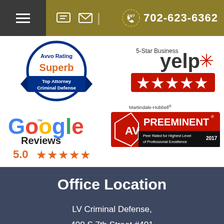702-623-6362
[Figure (logo): Avvo Rating Superb Top Attorney Criminal Defense badge]
[Figure (logo): Yelp 5-Star Business badge with red stars]
[Figure (logo): Google Reviews 5.0 stars logo]
[Figure (logo): Martindale-Hubbell AV Preeminent Peer Rated for Highest Level of Professional Excellence 2017]
Office Location
LV Criminal Defense, 400 S 7th Street #401 Las Vegas